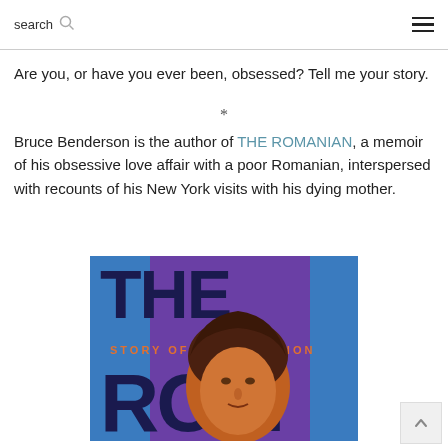search
Are you, or have you ever been, obsessed? Tell me your story.
*
Bruce Benderson is the author of THE ROMANIAN, a memoir of his obsessive love affair with a poor Romanian, interspersed with recounts of his New York visits with his dying mother.
[Figure (photo): Book cover of 'The Romanian: Story of an Obsession' showing large dark blue text 'THE ROM' with an illustrated face of a person on a purple/blue background with orange text reading 'STORY OF AN OBSESSION']